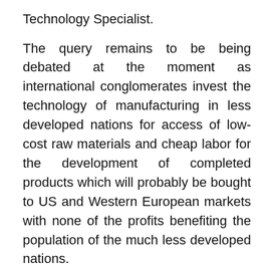Technology Specialist.
The query remains to be being debated at the moment as international conglomerates invest the technology of manufacturing in less developed nations for access of low-cost raw materials and cheap labor for the development of completed products which will probably be bought to US and Western European markets with none of the profits benefiting the population of the much less developed nations.